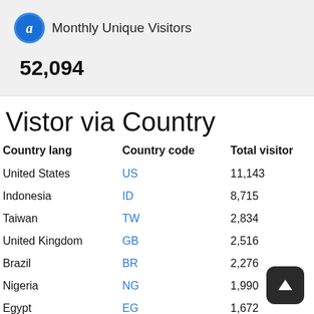[Figure (infographic): Alexa logo icon (blue circle with letter a) next to text 'Monthly Unique Visitors' and value '52,094' below]
Vistor via Country
| Country lang | Country code | Total visitor |
| --- | --- | --- |
| United States | US | 11,143 |
| Indonesia | ID | 8,715 |
| Taiwan | TW | 2,834 |
| United Kingdom | GB | 2,516 |
| Brazil | BR | 2,276 |
| Nigeria | NG | 1,990 |
| Egypt | EG | 1,672 |
| Hong Kong | HK | 1,578 |